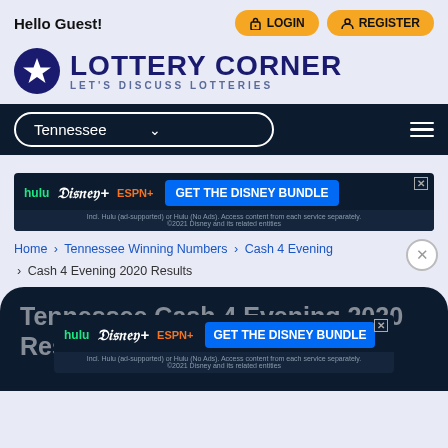Hello Guest!
[Figure (logo): Lottery Corner logo — star icon with text LOTTERY CORNER, LET'S DISCUSS LOTTERIES]
Tennessee (dropdown)
[Figure (screenshot): Disney Bundle advertisement banner — hulu Disney+ ESPN+ GET THE DISNEY BUNDLE]
Home > Tennessee Winning Numbers > Cash 4 Evening > Cash 4 Evening 2020 Results
Tennessee Cash 4 Evening 2020 Results
[Figure (screenshot): Disney Bundle advertisement banner — hulu Disney+ ESPN+ GET THE DISNEY BUNDLE (second instance)]